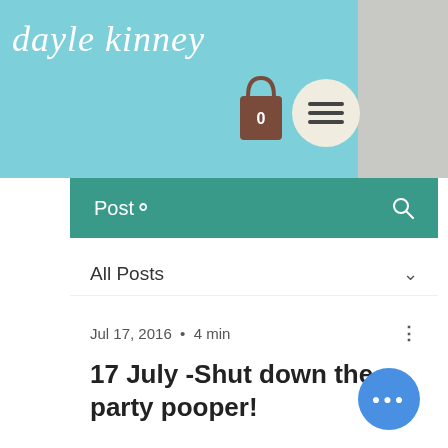dayle kinney
[Figure (screenshot): Navigation bar with shopping bag icon (showing 0) and hamburger menu button on teal/light-blue header]
Post
All Posts
Jul 17, 2016 · 4 min
17 July -Shut down the party pooper!